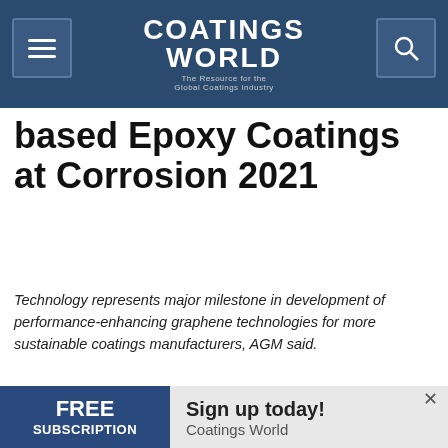Coatings World — The Resource for the Global Coatings Industry
based Epoxy Coatings at Corrosion 2021
Technology represents major milestone in development of performance-enhancing graphene technologies for more sustainable coatings manufacturers, AGM said.
03.15.21
[Figure (screenshot): CEO Forum promotional banner with dark blue background and gold/white text reading 'CEO Forum']
FREE SUBSCRIPTION — Sign up today! Coatings World